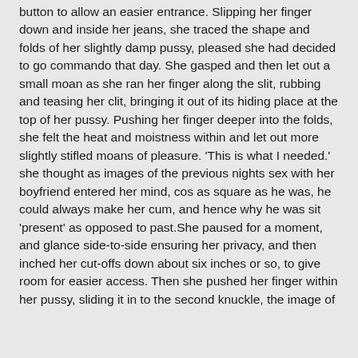button to allow an easier entrance. Slipping her finger down and inside her jeans, she traced the shape and folds of her slightly damp pussy, pleased she had decided to go commando that day. She gasped and then let out a small moan as she ran her finger along the slit, rubbing and teasing her clit, bringing it out of its hiding place at the top of her pussy. Pushing her finger deeper into the folds, she felt the heat and moistness within and let out more slightly stifled moans of pleasure. 'This is what I needed.' she thought as images of the previous nights sex with her boyfriend entered her mind, cos as square as he was, he could always make her cum, and hence why he was sit 'present' as opposed to past.She paused for a moment, and glance side-to-side ensuring her privacy, and then inched her cut-offs down about six inches or so, to give room for easier access. Then she pushed her finger within her pussy, sliding it in to the second knuckle, the image of